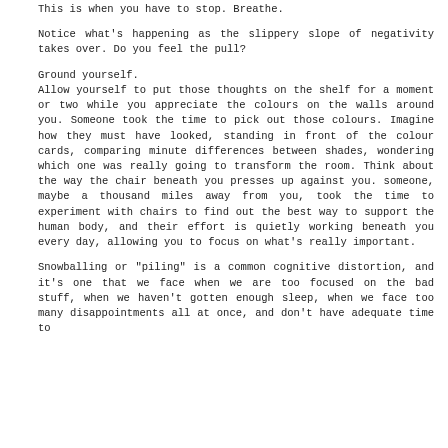This is when you have to stop. Breathe.
Notice what's happening as the slippery slope of negativity takes over. Do you feel the pull?
Ground yourself.
Allow yourself to put those thoughts on the shelf for a moment or two while you appreciate the colours on the walls around you. Someone took the time to pick out those colours. Imagine how they must have looked, standing in front of the colour cards, comparing minute differences between shades, wondering which one was really going to transform the room. Think about the way the chair beneath you presses up against you. someone, maybe a thousand miles away from you, took the time to experiment with chairs to find out the best way to support the human body, and their effort is quietly working beneath you every day, allowing you to focus on what's really important.
Snowballing or "piling" is a common cognitive distortion, and it's one that we face when we are too focused on the bad stuff, when we haven't gotten enough sleep, when we face too many disappointments all at once, and don't have adequate time to